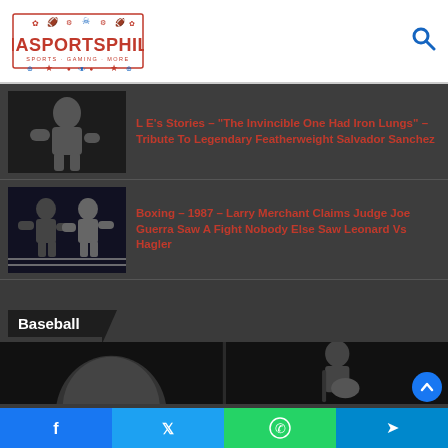[Figure (logo): IMASPORTSPHILE website logo with sports iconography in red and blue]
L E’s Stories – “The Invincible One Had Iron Lungs” – Tribute To Legendary Featherweight Salvador Sanchez
Boxing – 1987 – Larry Merchant Claims Judge Joe Guerra Saw A Fight Nobody Else Saw Leonard Vs Hagler
Baseball
[Figure (photo): Black and white photo of a man from behind (baseball related)]
[Figure (photo): Black and white photo of a man playing guitar in a suit]